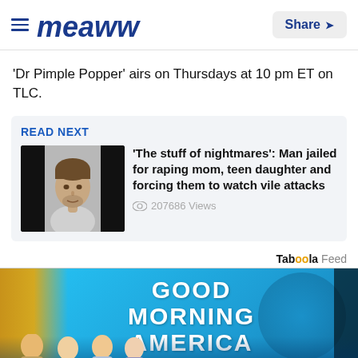Meaww | Share
'Dr Pimple Popper' airs on Thursdays at 10 pm ET on TLC.
READ NEXT
'The stuff of nightmares': Man jailed for raping mom, teen daughter and forcing them to watch vile attacks
207686 Views
Taboola Feed
[Figure (photo): Good Morning America TV show promotional image with hosts and Christmas decorations on a blue background]